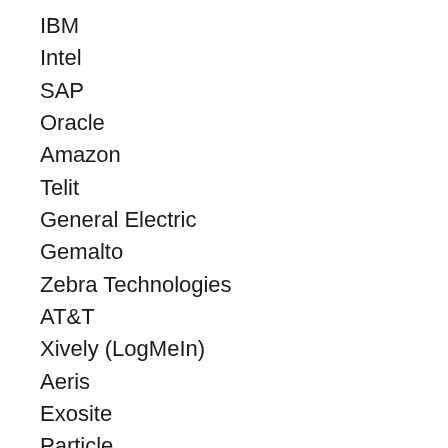IBM
Intel
SAP
Oracle
Amazon
Telit
General Electric
Gemalto
Zebra Technologies
AT&T
Xively (LogMeIn)
Aeris
Exosite
Particle
Ayla Networks
relayr
Bosch Software Innovations